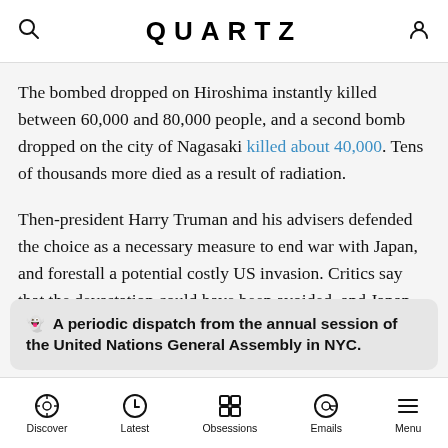QUARTZ
The bombed dropped on Hiroshima instantly killed between 60,000 and 80,000 people, and a second bomb dropped on the city of Nagasaki killed about 40,000. Tens of thousands more died as a result of radiation.
Then-president Harry Truman and his advisers defended the choice as a necessary measure to end war with Japan, and forestall a potential costly US invasion. Critics say that the devastation could have been avoided, and Japan could have been otherwise forced to surrender.
👻 A periodic dispatch from the annual session of the United Nations General Assembly in NYC.
Discover | Latest | Obsessions | Emails | Menu